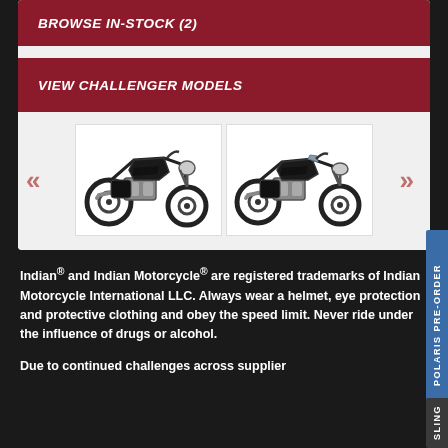BROWSE IN-STOCK (2)
VIEW CHALLENGER MODELS
[Figure (photo): Two black Indian Challenger motorcycles shown side by side in a carousel with left/right navigation arrows]
Indian® and Indian Motorcycle® are registered trademarks of Indian Motorcycle International LLC. Always wear a helmet, eye protection and protective clothing and obey the speed limit. Never ride under the influence of drugs or alcohol.
Due to continued challenges across supplier